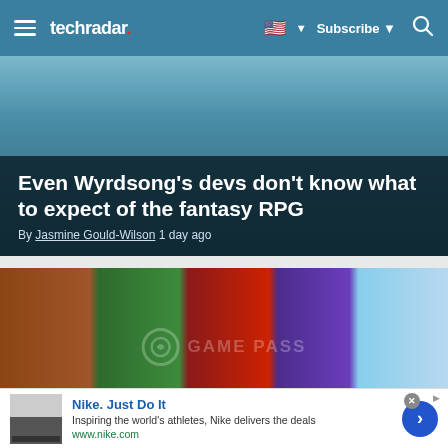techradar | Subscribe | Search
Even Wyrdsong's devs don't know what to expect of the fantasy RPG
By Jasmine Gould-Wilson 1 day ago
[Figure (photo): Collage of Xbox Game Pass game characters and an airplane]
Xbox Game Pass family plan might be even more generous than we
[Figure (advertisement): Nike Just Do It ad banner with thumbnail, description, and CTA button]